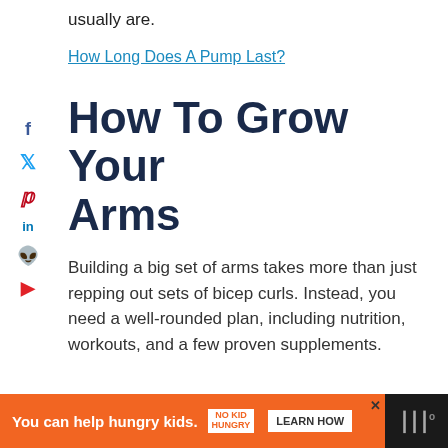usually are.
How Long Does A Pump Last?
How To Grow Your Arms
Building a big set of arms takes more than just repping out sets of bicep curls. Instead, you need a well-rounded plan, including nutrition, workouts, and a few proven supplements.
[Figure (infographic): Social media share icons on left sidebar: Facebook (f), Twitter (bird), Pinterest (p), LinkedIn (in), Reddit (alien), Flipboard (F)]
You can help hungry kids. NO KID HUNGRY LEARN HOW